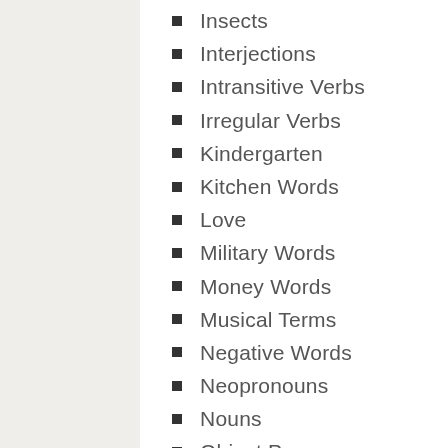Insects
Interjections
Intransitive Verbs
Irregular Verbs
Kindergarten
Kitchen Words
Love
Military Words
Money Words
Musical Terms
Negative Words
Neopronouns
Nouns
Object Pronouns
Opposites
Parts of Speech
Phrasal Verbs